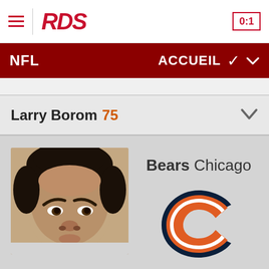RDS 0:1
NFL ACCUEIL
Larry Borom 75
[Figure (photo): Headshot photo of Larry Borom, NFL player, showing face and top of head]
Bears Chicago